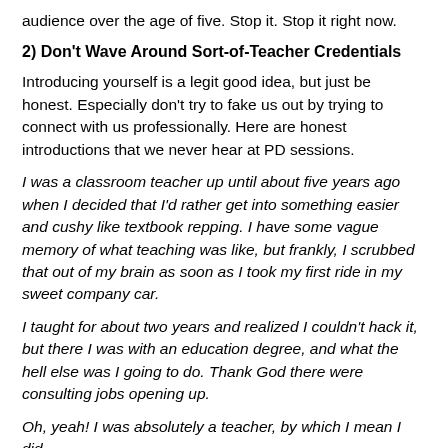audience over the age of five. Stop it. Stop it right now.
2) Don't Wave Around Sort-of-Teacher Credentials
Introducing yourself is a legit good idea, but just be honest. Especially don't try to fake us out by trying to connect with us professionally. Here are honest introductions that we never hear at PD sessions.
I was a classroom teacher up until about five years ago when I decided that I'd rather get into something easier and cushy like textbook repping. I have some vague memory of what teaching was like, but frankly, I scrubbed that out of my brain as soon as I took my first ride in my sweet company car.
I taught for about two years and realized I couldn't hack it, but there I was with an education degree, and what the hell else was I going to do. Thank God there were consulting jobs opening up.
Oh, yeah! I was absolutely a teacher, by which I mean I did